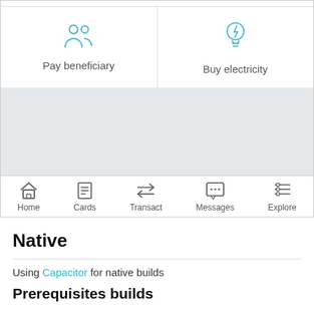[Figure (screenshot): Mobile app screenshot showing two tiles (Pay beneficiary with users icon, Buy electricity with lightbulb icon), a gray content area, and a bottom navigation bar with Home, Cards, Transact, Messages, Explore tabs.]
Native
Using Capacitor for native builds
Prerequisites builds